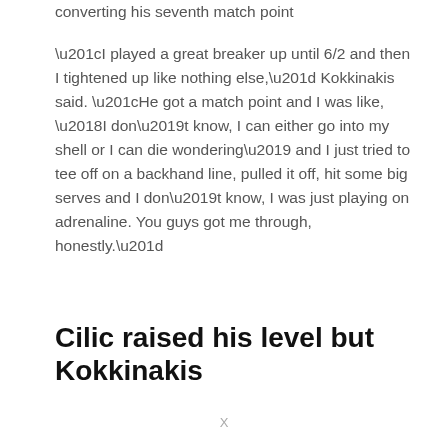converting his seventh match point
“I played a great breaker up until 6/2 and then I tightened up like nothing else,” Kokkinakis said. “He got a match point and I was like, ‘I don’t know, I can either go into my shell or I can die wondering’ and I just tried to tee off on a backhand line, pulled it off, hit some big serves and I don’t know, I was just playing on adrenaline. You guys got me through, honestly.”
Cilic raised his level but Kokkinakis
X